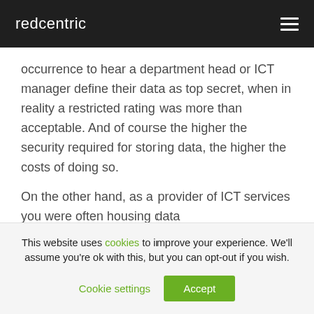redcentric
occurrence to hear a department head or ICT manager define their data as top secret, when in reality a restricted rating was more than acceptable. And of course the higher the security required for storing data, the higher the costs of doing so.
On the other hand, as a provider of ICT services you were often housing data
This website uses cookies to improve your experience. We'll assume you're ok with this, but you can opt-out if you wish.
Cookie settings
Accept